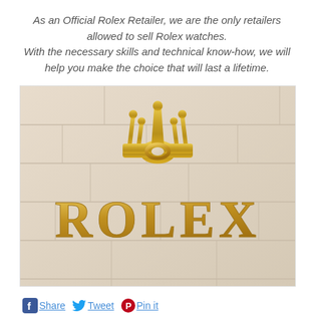As an Official Rolex Retailer, we are the only retailers allowed to sell Rolex watches. With the necessary skills and technical know-how, we will help you make the choice that will last a lifetime.
[Figure (photo): Photo of a Rolex store sign: gold crown logo above gold ROLEX lettering mounted on a beige/cream tiled wall]
Share  Tweet  Pin it